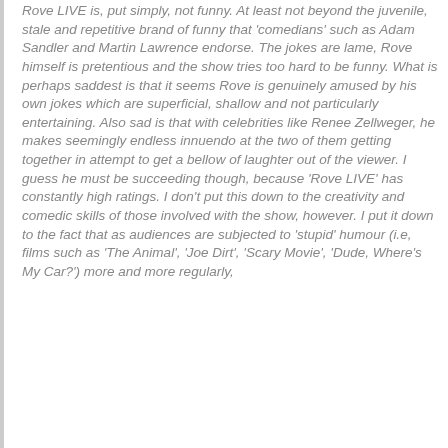Rove LIVE is, put simply, not funny. At least not beyond the juvenile, stale and repetitive brand of funny that 'comedians' such as Adam Sandler and Martin Lawrence endorse. The jokes are lame, Rove himself is pretentious and the show tries too hard to be funny. What is perhaps saddest is that it seems Rove is genuinely amused by his own jokes which are superficial, shallow and not particularly entertaining. Also sad is that with celebrities like Renee Zellweger, he makes seemingly endless innuendo at the two of them getting together in attempt to get a bellow of laughter out of the viewer. I guess he must be succeeding though, because 'Rove LIVE' has constantly high ratings. I don't put this down to the creativity and comedic skills of those involved with the show, however. I put it down to the fact that as audiences are subjected to 'stupid' humour (i.e, films such as 'The Animal', 'Joe Dirt', 'Scary Movie', 'Dude, Where's My Car?') more and more regularly,